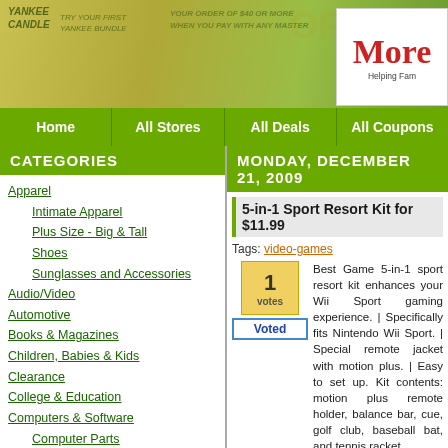[Figure (screenshot): Website header banner with coupon/money imagery and More logo saying Helping Fam...]
Home | All Stores | All Deals | All Coupons
CATEGORIES
Apparel
Intimate Apparel
Plus Size - Big & Tall
Shoes
Sunglasses and Accessories
Audio/Video
Automotive
Books & Magazines
Children, Babies & Kids
Clearance
College & Education
Computers & Software
Computer Parts
Flash Memory
Laptops & Notebooks
Printers
Crafts, Hobby & Collectibles
Desktops
Electronics
MONDAY, DECEMBER 21, 2009
5-in-1 Sport Resort Kit for $11.99
Tags: video-games
Best Game 5-in-1 sport resort kit enhances your Wii Sport gaming experience. | Specifically fits Nintendo Wii Sport. | Special remote jacket with motion plus. | Easy to set up. Kit contents: motion plus remote holder, balance bar, cue, golf club, baseball bat, and tennis racket.
Click here to get this
Categories: Video Games
More deals/coupons for Buy.com
Trend Micro Antivirus Plus Antispyware 2010
Tags: software
Trend Micro AntiVirus + AntiSpyware... you need so you can email and share... You can rest easy knowing you have... protection against the latest mali...